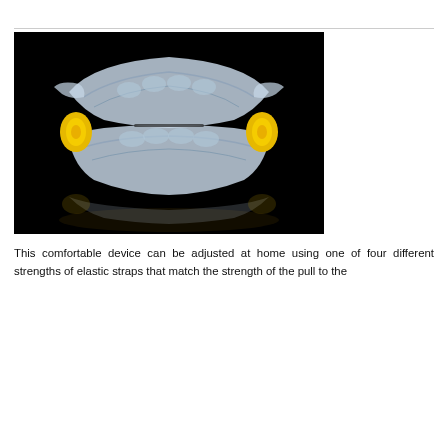[Figure (photo): A dental sleep apnea oral appliance (mandibular advancement device) with clear acrylic trays and yellow elastic connectors on both sides, photographed against a black background.]
This comfortable device can be adjusted at home using one of four different strengths of elastic straps that match the strength of the pull to the